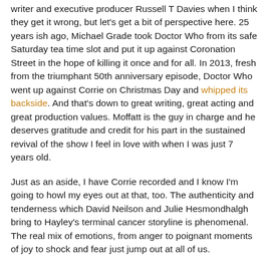writer and executive producer Russell T Davies when I think they get it wrong, but let's get a bit of perspective here. 25 years ish ago, Michael Grade took Doctor Who from its safe Saturday tea time slot and put it up against Coronation Street in the hope of killing it once and for all. In 2013, fresh from the triumphant 50th anniversary episode, Doctor Who went up against Corrie on Christmas Day and whipped its backside. And that's down to great writing, great acting and great production values. Moffatt is the guy in charge and he deserves gratitude and credit for his part in the sustained revival of the show I feel in love with when I was just 7 years old.
Just as an aside, I have Corrie recorded and I know I'm going to howl my eyes out at that, too. The authenticity and tenderness which David Neilson and Julie Hesmondhalgh bring to Hayley's terminal cancer storyline is phenomenal. The real mix of emotions, from anger to poignant moments of joy to shock and fear just jump out at all of us.
But back to Who. Last night's episode, for the hardcore fan, was going to be a very different beast from last month's The Day of the Doctor, but that was Moffatt's reward to patient fans...